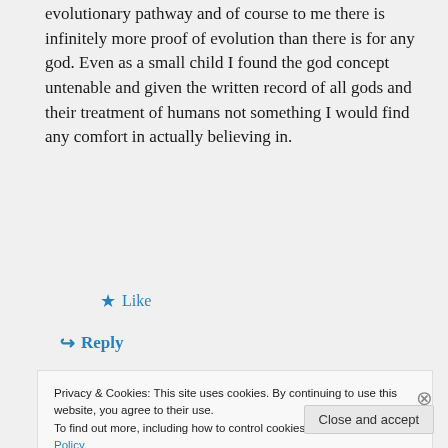evolutionary pathway and of course to me there is infinitely more proof of evolution than there is for any god. Even as a small child I found the god concept untenable and given the written record of all gods and their treatment of humans not something I would find any comfort in actually believing in.
★ Like
↳ Reply
Privacy & Cookies: This site uses cookies. By continuing to use this website, you agree to their use.
To find out more, including how to control cookies, see here: Cookie Policy
Close and accept